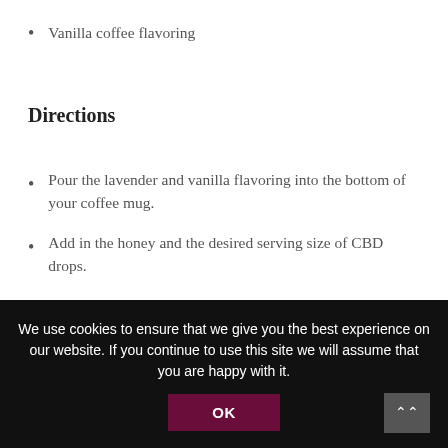Vanilla coffee flavoring
Directions
Pour the lavender and vanilla flavoring into the bottom of your coffee mug.
Add in the honey and the desired serving size of CBD drops.
Brew espresso shots and pour into the coffee mug. Stir gently to blend the honey with the other
We use cookies to ensure that we give you the best experience on our website. If you continue to use this site we will assume that you are happy with it.